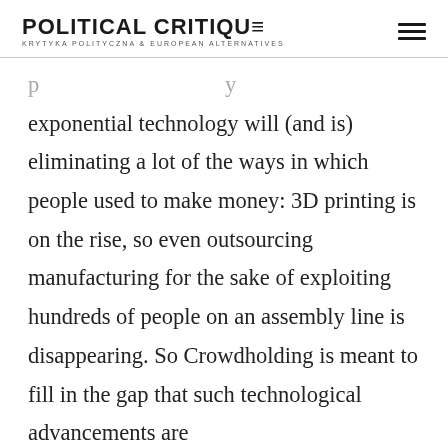POLITICAL CRITIQUE
KRYTYKA POLITYCZNA & EUROPEAN ALTERNATIVES
exponential technology will (and is) eliminating a lot of the ways in which people used to make money: 3D printing is on the rise, so even outsourcing manufacturing for the sake of exploiting hundreds of people on an assembly line is disappearing. So Crowdholding is meant to fill in the gap that such technological advancements are